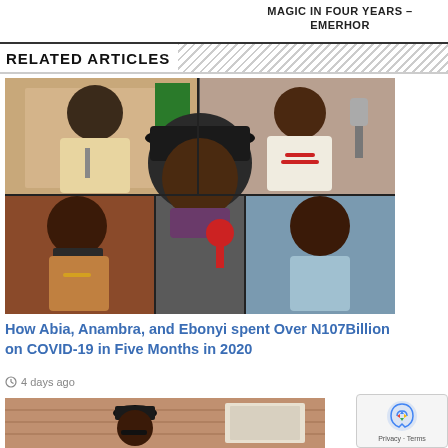MAGIC IN FOUR YEARS – EMERHOR
RELATED ARTICLES
[Figure (photo): Collage of five Nigerian governors/politicians including Abia, Anambra, and Ebonyi state officials]
How Abia, Anambra, and Ebonyi spent Over N107Billion on COVID-19 in Five Months in 2020
4 days ago
[Figure (photo): Partial photo of a politician wearing a black hat]